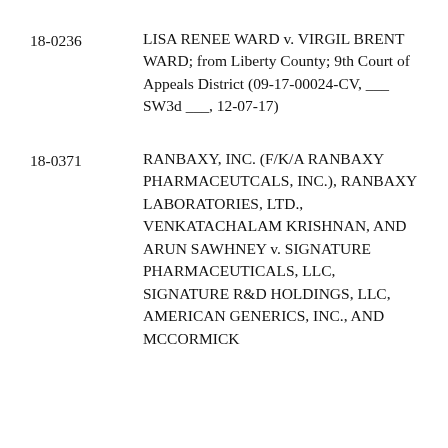18-0236    LISA RENEE WARD v. VIRGIL BRENT WARD; from Liberty County; 9th Court of Appeals District (09-17-00024-CV, ___ SW3d ___, 12-07-17)
18-0371    RANBAXY, INC. (F/K/A RANBAXY PHARMACEUTCALS, INC.), RANBAXY LABORATORIES, LTD., VENKATACHALAM KRISHNAN, AND ARUN SAWHNEY v. SIGNATURE PHARMACEUTICALS, LLC, SIGNATURE R&D HOLDINGS, LLC, AMERICAN GENERICS, INC., AND MCCORMICK